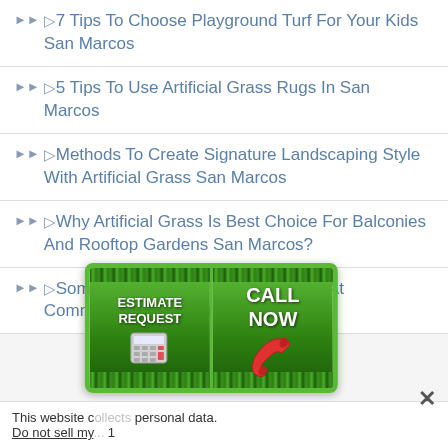▷7 Tips To Choose Playground Turf For Your Kids San Marcos
▷5 Tips To Use Artificial Grass Rugs In San Marcos
▷Methods To Create Signature Landscaping Style With Artificial Grass San Marcos
▷Why Artificial Grass Is Best Choice For Balconies And Rooftop Gardens San Marcos?
▷Some Uses Of Artificial Grass Rugs At Commercial Areas San Marcos
[Figure (infographic): Promotional banner with two sections: ESTIMATE REQUEST with calculator icon on the left, and CALL NOW with red telephone icon on the right, both on a green grass background]
This website collects personal data. Do not sell my... 1